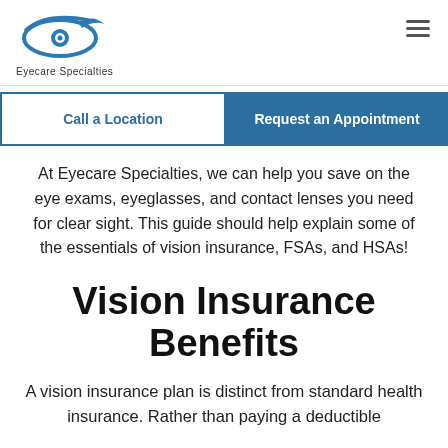Eyecare Specialties
Call a Location
Request an Appointment
At Eyecare Specialties, we can help you save on the eye exams, eyeglasses, and contact lenses you need for clear sight. This guide should help explain some of the essentials of vision insurance, FSAs, and HSAs!
Vision Insurance Benefits
A vision insurance plan is distinct from standard health insurance. Rather than paying a deductible